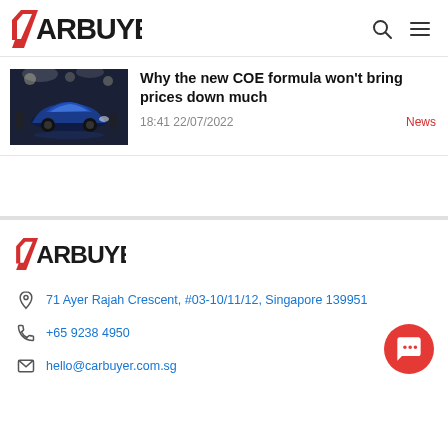CARBUYER [logo] — search icon, menu icon
[Figure (photo): Car showroom with blue car lit under spotlights, people in background]
Why the new COE formula won't bring prices down much
18:41 22/07/2022
News
[Figure (logo): CARBUYER logo in footer]
71 Ayer Rajah Crescent, #03-10/11/12, Singapore 139951
+65 9238 4950
hello@carbuyer.com.sg